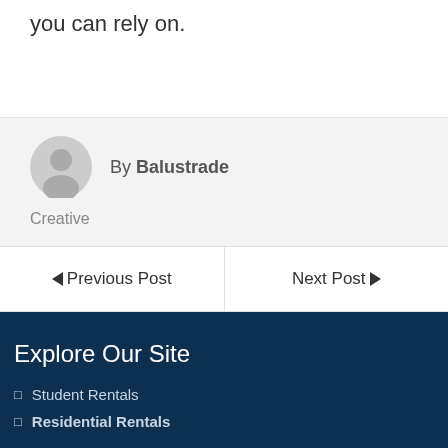you can rely on.
By Balustrade
Creative
◄Previous Post
Next Post►
Explore Our Site
Student Rentals
Residential Rentals